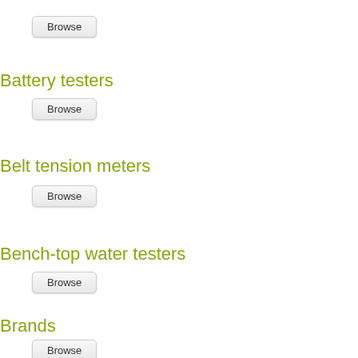[Figure (screenshot): Browse button - first instance]
Battery testers
[Figure (screenshot): Browse button - second instance]
Belt tension meters
[Figure (screenshot): Browse button - third instance]
Bench-top water testers
[Figure (screenshot): Browse button - fourth instance]
Brands
[Figure (screenshot): Browse button - fifth instance]